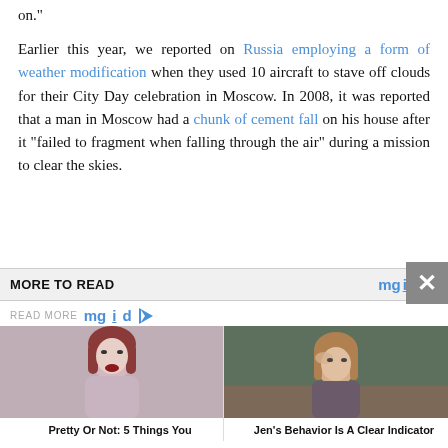on."
Earlier this year, we reported on Russia employing a form of weather modification when they used 10 aircraft to stave off clouds for their City Day celebration in Moscow. In 2008, it was reported that a man in Moscow had a chunk of cement fall on his house after it “failed to fragment when falling through the air” during a mission to clear the skies.
MORE TO READ
READ MORE mgid
[Figure (photo): Thumbnail photo of a plus-size woman with red hair]
Pretty Or Not: 5 Things You
[Figure (photo): Thumbnail photo of Jennifer Aniston]
Jen's Behavior Is A Clear Indicator